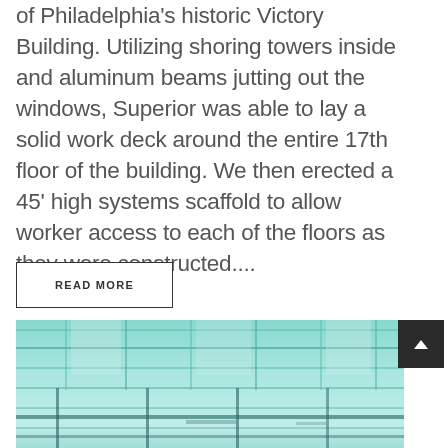of Philadelphia's historic Victory Building. Utilizing shoring towers inside and aluminum beams jutting out the windows, Superior was able to lay a solid work deck around the entire 17th floor of the building. We then erected a 45' high systems scaffold to allow worker access to each of the floors as they were constructed....
READ MORE
[Figure (photo): Interior photograph of a large building with green-tinted glass ceiling/roof structure and scaffolding visible below, showing construction work inside what appears to be a historic building interior.]